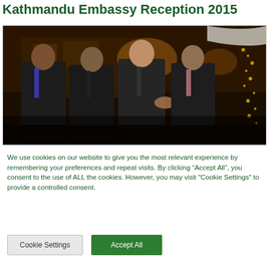Kathmandu Embassy Reception 2015
[Figure (photo): Four men in dark suits standing together at an evening embassy reception event, shaking hands, with warmly lit building and decorative lights in the background.]
We use cookies on our website to give you the most relevant experience by remembering your preferences and repeat visits. By clicking “Accept All”, you consent to the use of ALL the cookies. However, you may visit "Cookie Settings" to provide a controlled consent.
Cookie Settings
Accept All